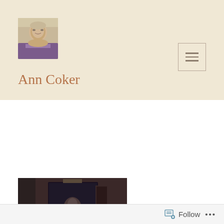[Figure (photo): Profile photo of Ann Coker, an elderly woman with short gray hair and glasses, wearing a colorful patterned top]
[Figure (other): Hamburger menu icon button with three horizontal lines]
Ann Coker
Dream Job Got Bigger
[Figure (photo): Dark photograph showing a person at what appears to be a podium or lectern in a dimly lit room]
Follow ...